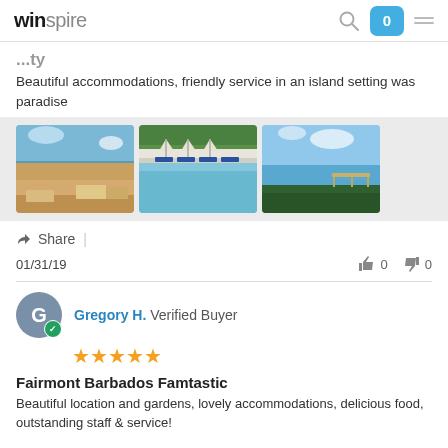winspire — navigation bar with search, cart (0), and menu
Beautiful accommodations, friendly service in an island setting was paradise
[Figure (photo): Three travel photos: beach scene, pool with umbrellas and lounge chairs, ocean view with dock]
Share  |
01/31/19    👍 0   👎 0
Gregory H. Verified Buyer — ★★★★★
Fairmont Barbados Famtastic
Beautiful location and gardens, lovely accommodations, delicious food, outstanding staff & service!